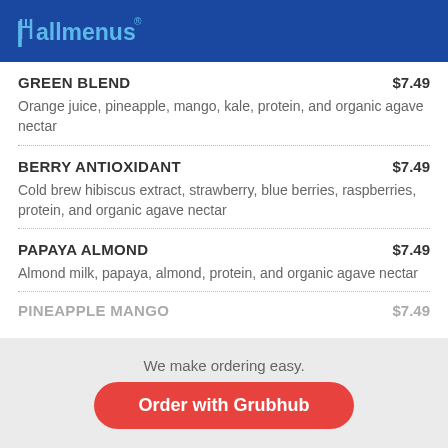allmenus
GREEN BLEND — $7.49
Orange juice, pineapple, mango, kale, protein, and organic agave nectar
BERRY ANTIOXIDANT — $7.49
Cold brew hibiscus extract, strawberry, blue berries, raspberries, protein, and organic agave nectar
PAPAYA ALMOND — $7.49
Almond milk, papaya, almond, protein, and organic agave nectar
PINEAPPLE MANGO — $7.49
We make ordering easy.
Order with Grubhub